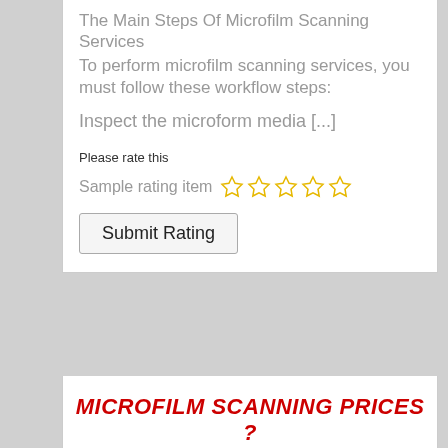The Main Steps Of Microfilm Scanning Services
To perform microfilm scanning services, you must follow these workflow steps:
Inspect the microform media [...]
Please rate this
Sample rating item ☆☆☆☆☆
Submit Rating
MICROFILM SCANNING PRICES ?